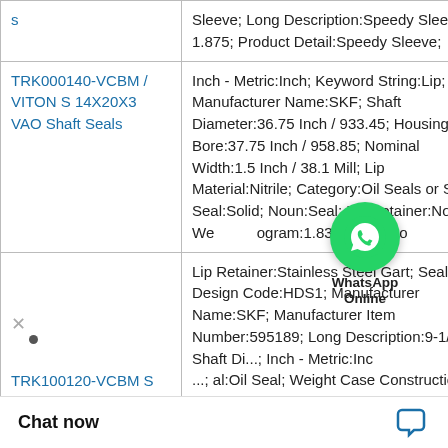| Product | Description |
| --- | --- |
| s | Sleeve; Long Description:Speedy Sleeve; 1.875; Product Detail:Speedy Sleeve; |
| TRK000140-VCBM / VITON S 14X20X3 VAO Shaft Seals | Inch - Metric:Inch; Keyword String:Lip; Manufacturer Name:SKF; Shaft Diameter:36.75 Inch / 933.45; Housing Bore:37.75 Inch / 958.85; Nominal Width:1.5 Inch / 38.1 Mill; Lip Material:Nitrile; Category:Oil Seals or Split Seal:Solid; Noun:Seal; Lip Retainer:None; Weight/kilogram:1.839; Case Co |
| TRK100120-VCBM S 12X18X... | Lip Retainer:Stainless Steel Gart; Seal Design Code:HDS1; Manufacturer Name:SKF; Manufacturer Item Number:595189; Long Description:9-1/16 Shaft Di...; Inch - Metric:Inc...; al:Oil Seal; Weight Case Constructio |
[Figure (illustration): WhatsApp Online chat button overlay with green circle icon and 'WhatsApp Online' label]
Chat now